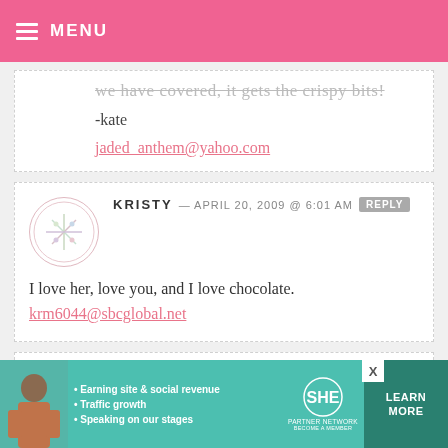MENU
...we have covered, it gets the crispy bits!
-kate
jaded_anthem@yahoo.com
KRISTY — APRIL 20, 2009 @ 6:01 AM
I love her, love you, and I love chocolate. krm6044@sbcglobal.net
HAHAINLALA — APRIL 20, 2009 @ 6:00 AM
[Figure (infographic): SHE Partner Network advertisement banner with photo of woman, bullet points: Earning site & social revenue, Traffic growth, Speaking on our stages, and LEARN MORE button]